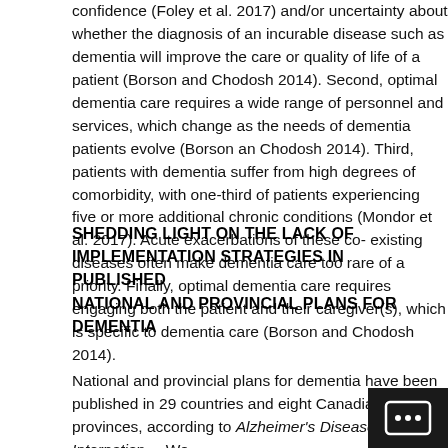confidence (Foley et al. 2017) and/or uncertainty about whether the diagnosis of an incurable disease such as dementia will improve the care or quality of life of a patient (Borson and Chodosh 2014). Second, optimal dementia care requires a wide range of personnel and services, which change as the needs of dementia patients evolve (Borson and Chodosh 2014). Third, patients with dementia suffer from high degrees of comorbidity, with one-third of patients experiencing five or more additional chronic conditions (Mondor et al. 2017). Acute exacerbations of these co-existing diseases often make dementia care too rare of a priority. Finally, optimal dementia care requires engaging both the patient and their caregiver(s), which is specific to dementia care (Borson and Chodosh 2014).
SHEDDING LIGHT ON THE LACK OF IMPLEMENTATION STRATEGIES IN PUBLISHED NATIONAL AND PROVINCIAL PLANS FOR DEMENTIA
National and provincial plans for dementia have been published in 29 countries and eight Canadian provinces, according to Alzheimer's Disease Internatio[nal]. We